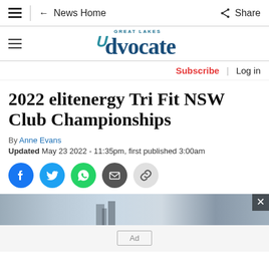News Home | Share
[Figure (logo): Great Lakes Advocate newspaper logo]
Subscribe | Log in
2022 elitenergy Tri Fit NSW Club Championships
By Anne Evans
Updated May 23 2022 - 11:35pm, first published 3:00am
[Figure (infographic): Social share buttons: Facebook, Twitter, WhatsApp, Email, Copy Link]
[Figure (photo): Advertisement image strip with close button]
Ad